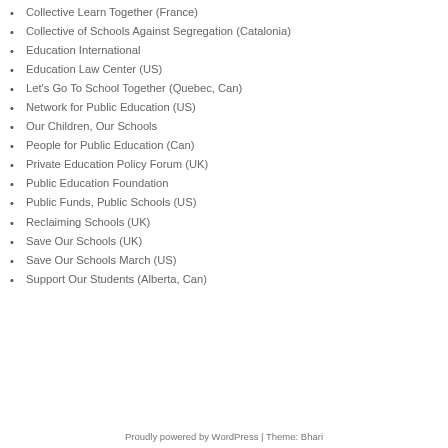Collective Learn Together (France)
Collective of Schools Against Segregation (Catalonia)
Education International
Education Law Center (US)
Let's Go To School Together (Quebec, Can)
Network for Public Education (US)
Our Children, Our Schools
People for Public Education (Can)
Private Education Policy Forum (UK)
Public Education Foundation
Public Funds, Public Schools (US)
Reclaiming Schools (UK)
Save Our Schools (UK)
Save Our Schools March (US)
Support Our Students (Alberta, Can)
Proudly powered by WordPress | Theme: Bhari